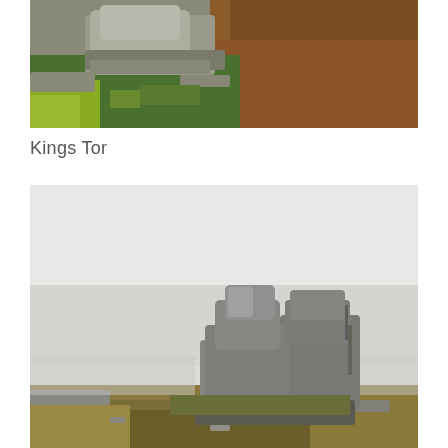[Figure (photo): Landscape photo showing rocky granite formations with green and yellow-green grass in the foreground and left side, and brown dead bracken/heather covering the right portion of the hillside. Grey overcast sky implied. Dartmoor moorland scene.]
Kings Tor
[Figure (photo): Misty foggy landscape photo of Kings Tor on Dartmoor. A granite tor rock formation sits in the centre-right of the image with stacked and tumbled grey rocks. The surrounding ground has golden-brown moorland grass and scattered smaller rocks. The background is entirely obscured by thick white fog/mist.]